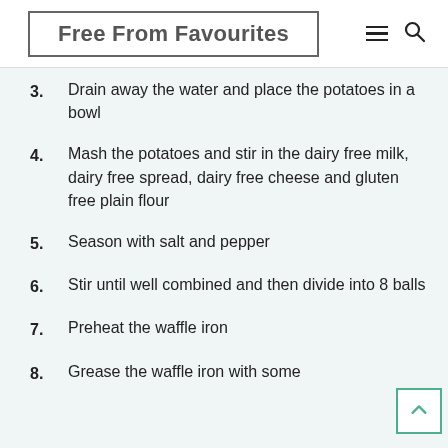Free From Favourites
3. Drain away the water and place the potatoes in a bowl
4. Mash the potatoes and stir in the dairy free milk, dairy free spread, dairy free cheese and gluten free plain flour
5. Season with salt and pepper
6. Stir until well combined and then divide into 8 balls
7. Preheat the waffle iron
8. Grease the waffle iron with some